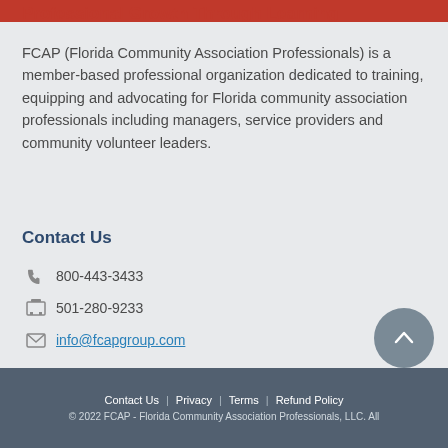Professional Growth Through Learning
FCAP (Florida Community Association Professionals) is a member-based professional organization dedicated to training, equipping and advocating for Florida community association professionals including managers, service providers and community volunteer leaders.
Contact Us
800-443-3433
501-280-9233
info@fcapgroup.com
Contact Us | Privacy | Terms | Refund Policy
© 2022 FCAP - Florida Community Association Professionals, LLC. All